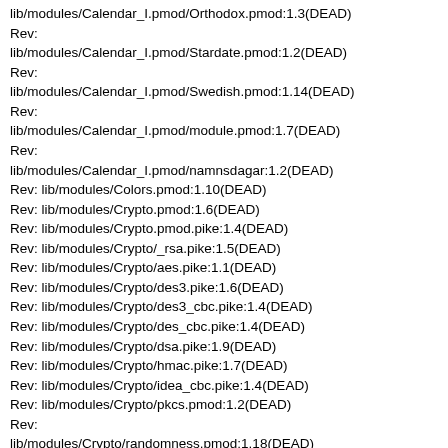lib/modules/Calendar_I.pmod/Orthodox.pmod:1.3(DEAD)
Rev: lib/modules/Calendar_I.pmod/Stardate.pmod:1.2(DEAD)
Rev: lib/modules/Calendar_I.pmod/Swedish.pmod:1.14(DEAD)
Rev: lib/modules/Calendar_I.pmod/module.pmod:1.7(DEAD)
Rev: lib/modules/Calendar_I.pmod/namnsdagar:1.2(DEAD)
Rev: lib/modules/Colors.pmod:1.10(DEAD)
Rev: lib/modules/Crypto.pmod:1.6(DEAD)
Rev: lib/modules/Crypto.pmod.pike:1.4(DEAD)
Rev: lib/modules/Crypto/_rsa.pike:1.5(DEAD)
Rev: lib/modules/Crypto/aes.pike:1.1(DEAD)
Rev: lib/modules/Crypto/des3.pike:1.6(DEAD)
Rev: lib/modules/Crypto/des3_cbc.pike:1.4(DEAD)
Rev: lib/modules/Crypto/des_cbc.pike:1.4(DEAD)
Rev: lib/modules/Crypto/dsa.pike:1.9(DEAD)
Rev: lib/modules/Crypto/hmac.pike:1.7(DEAD)
Rev: lib/modules/Crypto/idea_cbc.pike:1.4(DEAD)
Rev: lib/modules/Crypto/pkcs.pmod:1.2(DEAD)
Rev: lib/modules/Crypto/randomness.pmod:1.18(DEAD)
Rev: lib/modules/Crypto/randomness.pmod.pike:1.3(DEAD)
Rev: lib/modules/Crypto/rsa.pike:1.27(DEAD)